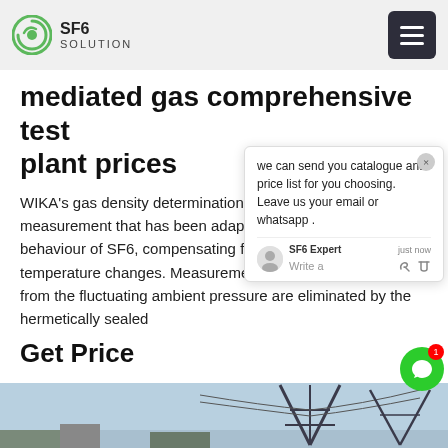SF6 SOLUTION
mediated gas comprehensive test plant prices
WIKA's gas density determination is made with pressure measurement that has been adapted to the 'real gas' behaviour of SF6, compensating for the effects of temperature changes. Measurement uncertainties arising from the fluctuating ambient pressure are eliminated by the hermetically sealed
Get Price
[Figure (screenshot): Chat popup overlay with message: 'we can send you catalogue and price list for you choosing. Leave us your email or whatsapp .' From SF6 Expert, just now. Write a... with thumbs up and paperclip icons.]
[Figure (photo): Outdoor photo showing electrical power transmission towers/pylons against a blue sky with buildings visible at the bottom.]